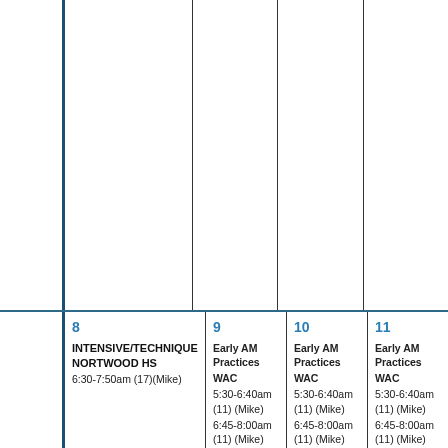|  | 8 | 9 | 10 | 11 |
| --- | --- | --- | --- | --- |
|  | INTENSIVE/TECHNIQUE NORTWOOD HS
6:30-7:50am (17)(Mike) | Early AM Practices WAC
5:30-6:40am (11) (Mike)
6:45-8:00am (11) (Mike)
Mid-Day Practices | Early AM Practices WAC
5:30-6:40am (11) (Mike)
6:45-8:00am (11) (Mike)
Mid-Day Practices | Early AM Practices WAC
5:30-6:40am (11) (Mike)
6:45-8:00am (11) (Mike)
Mid-Day Practices |